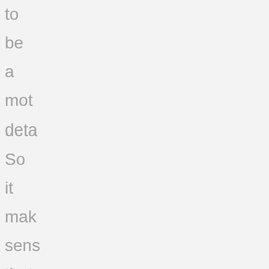to
be
a
mot
deta
So
it
mak
sens
that
som
like
that
wou
like
to